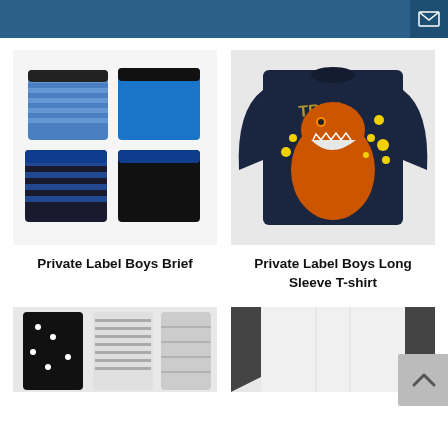[Figure (photo): Four boys boxer brief underwear: blue stripe, solid blue, dark blue stripe, solid black]
Private Label Boys Brief
[Figure (photo): Navy blue boys long sleeve t-shirt with T-Rex dinosaur graphic]
Private Label Boys Long Sleeve T-shirt
[Figure (photo): Partial view of girls clothing items - black and white patterned]
[Figure (photo): Partial view of boys baseball-style shirt]